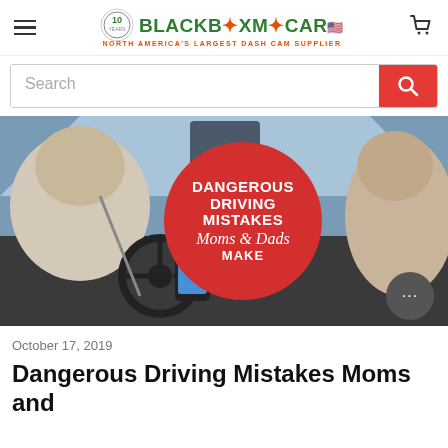BlackboxMyCar — NORTH AMERICA'S LARGEST DASH CAM SUPPLIER
[Figure (screenshot): Search bar with red search button]
[Figure (illustration): Hero image of car interior with driver using phone, overlaid with a red circle containing text: DANGEROUS DRIVING MISTAKES Moms & Dads MAKE]
October 17, 2019
Dangerous Driving Mistakes Moms and